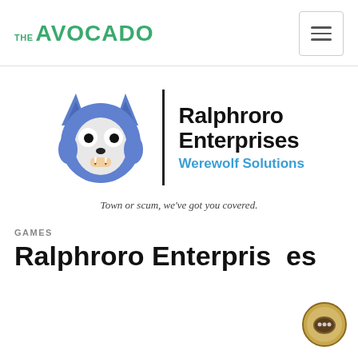THE AVOCADO
[Figure (logo): Ralphroro Enterprises Werewolf Solutions logo: blue cartoon werewolf face on left, vertical black divider line, bold text 'Ralphroro Enterprises' with blue subtitle 'Werewolf Solutions', italic tagline 'Town or scum, we've got you covered.']
GAMES
Ralphroro Enterprises